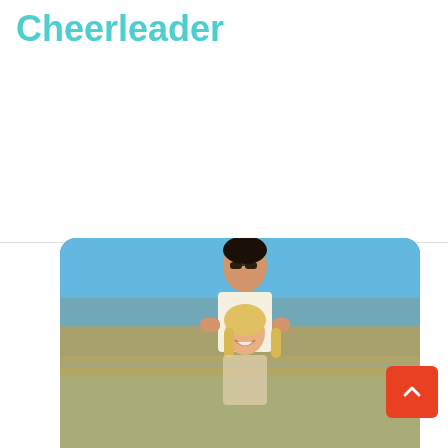Cheerleader
[Figure (photo): A man and woman smiling in a stadium, with blue sky and crowd in the background. The man is wearing a white shirt and sunglasses, embracing the woman from behind.]